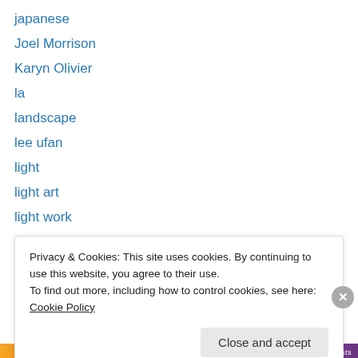japanese
Joel Morrison
Karyn Olivier
la
landscape
lee ufan
light
light art
light work
lisson
live
london
los angeles
Privacy & Cookies: This site uses cookies. By continuing to use this website, you agree to their use. To find out more, including how to control cookies, see here: Cookie Policy
Close and accept